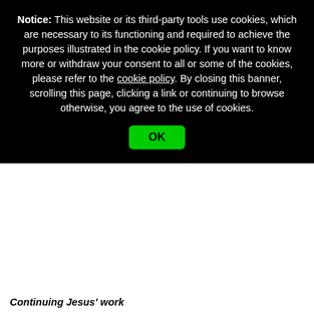Notice: This website or its third-party tools use cookies, which are necessary to its functioning and required to achieve the purposes illustrated in the cookie policy. If you want to know more or withdraw your consent to all or some of the cookies, please refer to the cookie policy. By closing this banner, scrolling this page, clicking a link or continuing to browse otherwise, you agree to the use of cookies.
OK
Continuing Jesus' work
We can do more than Jesus not in terms of more spectacular si because, Jesus in his humanity here on earth, was limited to a ve section of space and time. In his lifetime, he reached only a relative number of people. In fact, when he died all he could show for preaching and miracles was a handful of women at the foot of the Peter and the rest were nowhere to be seen. Strangely, it was onl leaving us that the energy and life he brought was released. By his g set in motion a process by which his message, his Way of Truth a could reach every corner of the world.
There are now very few places where Jesus' message has not bee Moreover the Pope or some other religious leader, hooked up to sa can simultaneously reach literally billions of people. Jesus on earth c